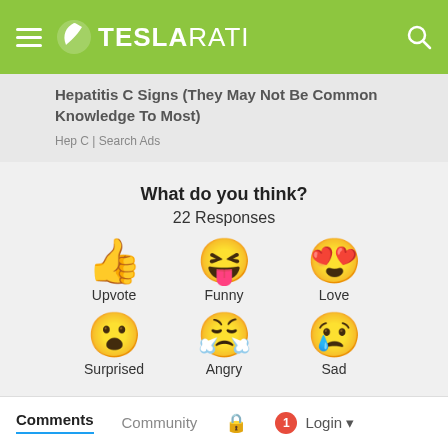TESLARATI
Hepatitis C Signs (They May Not Be Common Knowledge To Most)
Hep C | Search Ads
What do you think?
22 Responses
[Figure (infographic): Six emoji reaction buttons arranged in two rows: Upvote (thumbs up), Funny (laughing face with tongue), Love (heart eyes face), Surprised (shocked face), Angry (crying/angry face), Sad (sad face with tear)]
Comments  Community  Login